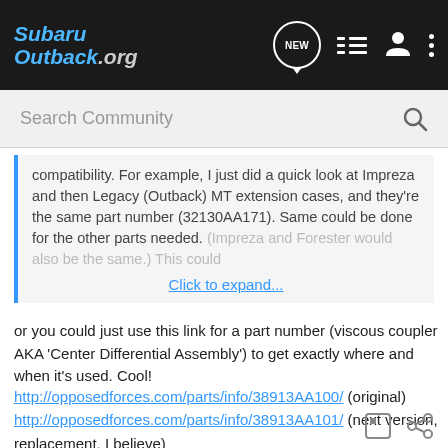SubaruOutback.org — NEW, list, user, menu icons
Search Community
compatibility. For example, I just did a quick look at Impreza and then Legacy (Outback) MT extension cases, and they're the same part number (32130AA171). Same could be done for the other parts needed. (Impreza and Forester would also be the same.) This could
Click to expand...
or you could just use this link for a part number (viscous coupler AKA 'Center Differential Assembly') to get exactly where and when it's used. Cool!
http://opposedforces.com/parts/info/38913AA100/ (original)
http://opposedforces.com/parts/info/38913AA101/ (next version, replacement, I believe)
http://opposedforces.com/parts/info/38913AA102/ (latest, but not in webpage so 404, yet?)